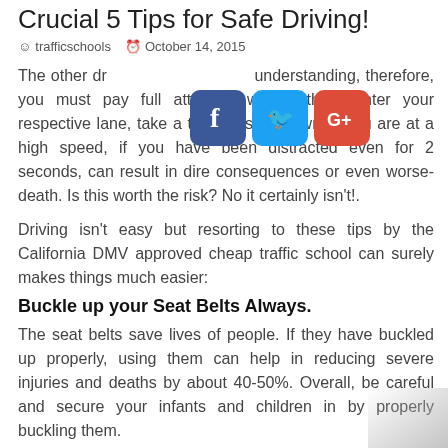Crucial 5 Tips for Safe Driving!
trafficschools   October 14, 2015
The other driver may not be understanding, therefore, you must pay full attention when others enter your respective lane, take a turn, or slow down. If you are at a high speed, if you have been distracted even for 2 seconds, can result in dire consequences or even worse-death. Is this worth the risk? No it certainly isn't!.
Driving isn't easy but resorting to these tips by the California DMV approved cheap traffic school can surely makes things much easier:
Buckle up your Seat Belts Always.
The seat belts save lives of people. If they have buckled up properly, using them can help in reducing severe injuries and deaths by about 40-50%. Overall, be careful and secure your infants and children in by properly buckling them.